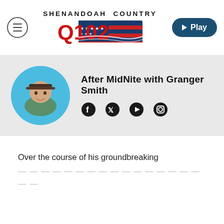[Figure (logo): Shenandoah Country Q102 radio station logo with American flag design and stars]
[Figure (photo): Circular profile photo of Granger Smith wearing a cap, smiling]
After MidNite with Granger Smith
[Figure (infographic): Social media icons: Facebook, Twitter, YouTube, Instagram]
Over the course of his groundbreaking